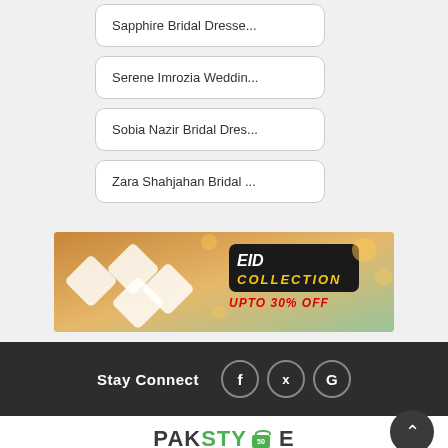Sapphire Bridal Dresse...
Serene Imrozia Weddin...
Sobia Nazir Bridal Dres...
Zara Shahjahan Bridal ...
[Figure (infographic): EID Collection banner with diamond-shaped product images and text 'EID COLLECTION UPTO 30% OFF']
Stay Connect
[Figure (logo): PAKSTYLE logo with green shopping cart icon]